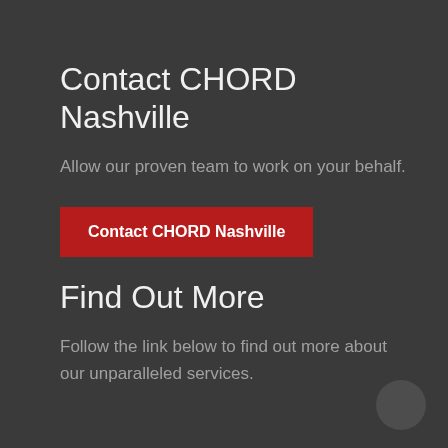Contact CHORD Nashville
Allow our proven team to work on your behalf.
Contact CHORD Nashville
Find Out More
Follow the link below to find out more about our unparalleled services.